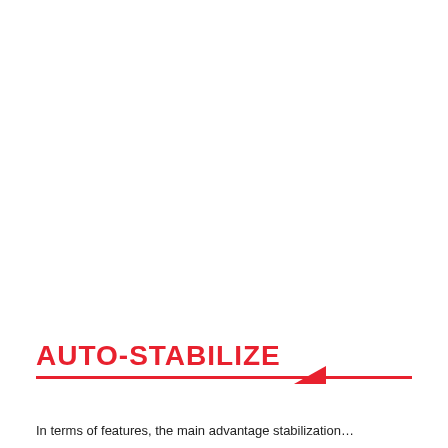AUTO-STABILIZE
In terms of features, the main advantage stabiliz ti…